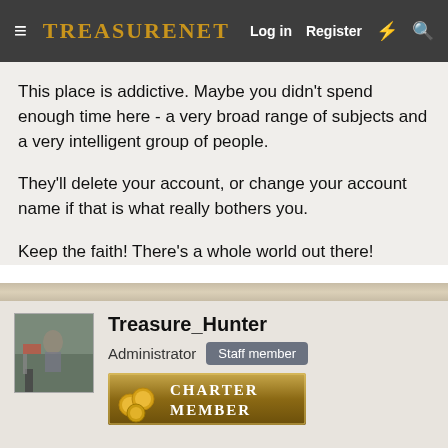TreasureNet — Log in | Register
This place is addictive. Maybe you didn't spend enough time here - a very broad range of subjects and a very intelligent group of people.
They'll delete your account, or change your account name if that is what really bothers you.
Keep the faith! There's a whole world out there!
Treasure_Hunter
Administrator  Staff member
Charter Member
May 5, 2015